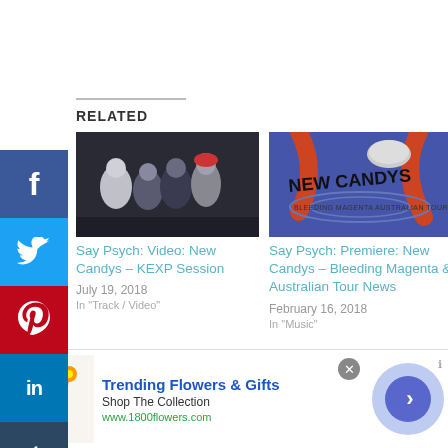RELATED
[Figure (photo): Photo of a band (4 young men) standing together in front of a building at night]
Say Psych: Video: New Candys – KEXP Session
July 19, 2018
In "Track / Video"
[Figure (photo): New Candys – Bleeding Magenta Australian Tour 2018 poster artwork]
Say Psych: Premiere: New Candys – Bleeding Magenta & Australian Tour News
February 16, 2018
In "Music"
[Figure (screenshot): Infolinks advertisement bar]
[Figure (photo): Advertisement: Trending Flowers & Gifts – Shop The Collection – www.1800flowers.com – flower bouquet image]